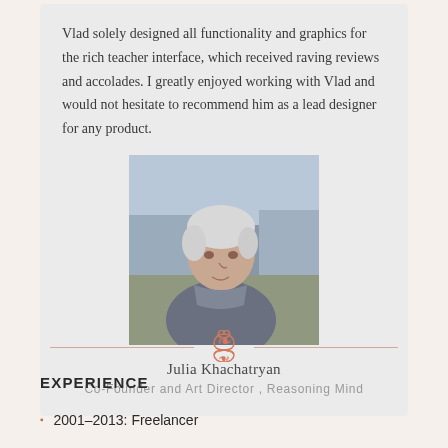Vlad solely designed all functionality and graphics for the rich teacher interface, which received raving reviews and accolades. I greatly enjoyed working with Vlad and would not hesitate to recommend him as a lead designer for any product.
[Figure (photo): Portrait photo of Julia Khachatryan, an older woman with short white/grey hair, photographed outdoors]
Julia Khachatryan
Co-Founder and Art Director, Reasoning Mind
EXPERIENCE
2001–2013: Freelancer